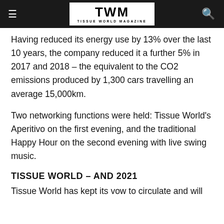TWM TISSUE WORLD MAGAZINE
Having reduced its energy use by 13% over the last 10 years, the company reduced it a further 5% in 2017 and 2018 – the equivalent to the CO2 emissions produced by 1,300 cars travelling an average 15,000km.
Two networking functions were held: Tissue World's Aperitivo on the first evening, and the traditional Happy Hour on the second evening with live swing music.
TISSUE WORLD – AND 2021
Tissue World has kept its vow to circulate and will